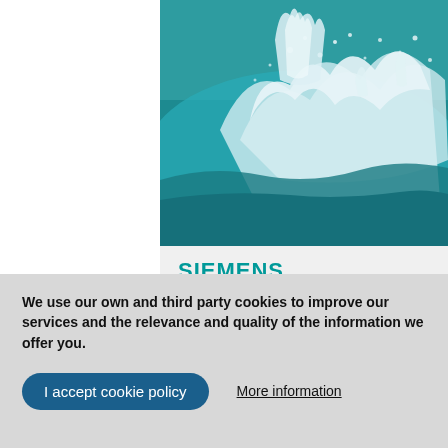[Figure (photo): Close-up photograph of water splashing, with blue-green water and white water droplets and spray against a teal/aqua background]
SIEMENS
Giving the best
We use our own and third party cookies to improve our services and the relevance and quality of the information we offer you.
I accept cookie policy
More information